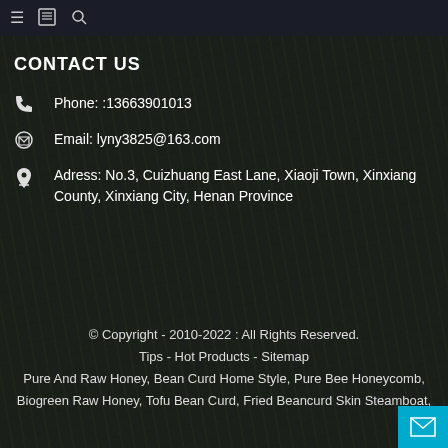≡  📓  🔍
CONTACT US
Phone: :13663901013
Email: lyny3825@163.com
Adress: No.3, Cuizhuang East Lane, Xiaoji Town, Xinxiang County, Xinxiang City, Henan Province
© Copyright - 2010-2022 : All Rights Reserved.
Tips - Hot Products - Sitemap
Pure And Raw Honey, Bean Curd Home Style, Pure Bee Honeycomb, Biogreen Raw Honey, Tofu Bean Curd, Fried Beancurd Skin Steamboat,